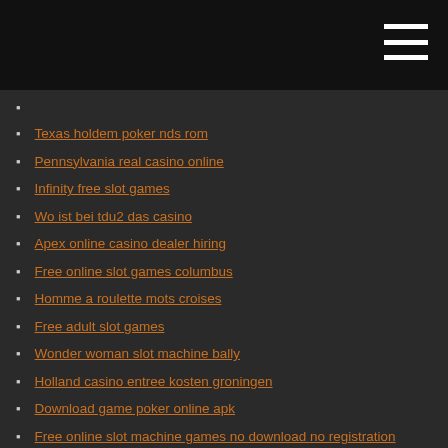Texas holdem poker nds rom
Pennsylvania real casino online
Infinity free slot games
Wo ist bei tdu2 das casino
Apex online casino dealer hiring
Free online slot games columbus
Homme a roulette mots croises
Free adult slot games
Wonder woman slot machine bally
Holland casino entree kosten groningen
Download game poker online apk
Free online slot machine games no download no registration